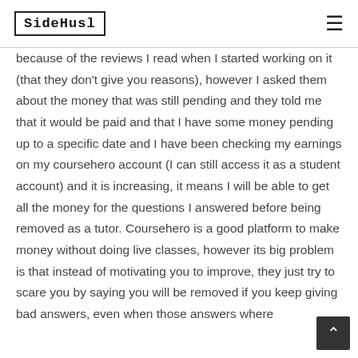SideHusl
because of the reviews I read when I started working on it (that they don't give you reasons), however I asked them about the money that was still pending and they told me that it would be paid and that I have some money pending up to a specific date and I have been checking my earnings on my coursehero account (I can still access it as a student account) and it is increasing, it means I will be able to get all the money for the questions I answered before being removed as a tutor. Coursehero is a good platform to make money without doing live classes, however its big problem is that instead of motivating you to improve, they just try to scare you by saying you will be removed if you keep giving bad answers, even when those answers where